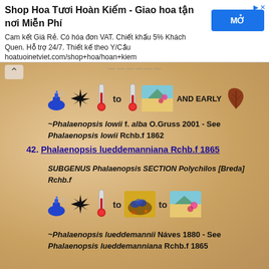Shop Hoa Tươi Hoàn Kiếm - Giao hoa tận nơi Miễn Phí
Cam kết Giá Rẻ. Có hóa đơn VAT. Chiết khấu 5% Khách Quen. Hỗ trợ 24/7. Thiết kế theo Y/Cầu hoatuoinetviet.com/shop+hoa/hoan+kiem
[Figure (infographic): Icons row: blue perfume bottle, black spiky star, red thermometer, 'to', red thermometer with landscape image, 'AND EARLY', brown/red leaf]
~Phalaenopsis lowii f. alba O.Gruss 2001 - See Phalaenopsis lowii Rchb.f 1862
42. Phalaenopsis lueddemanniana Rchb.f 1865
SUBGENUS Phalaenopsis SECTION Polychilos [Breda] Rchb.f
[Figure (infographic): Icons row: blue perfume bottle, black spiky star, red thermometer, 'to', colorful nest/flower image, 'to', landscape image with pink gem]
~Phalaenopsis lueddemannii Náves 1880 - See Phalaenopsis lueddemanniana Rchb.f 1865